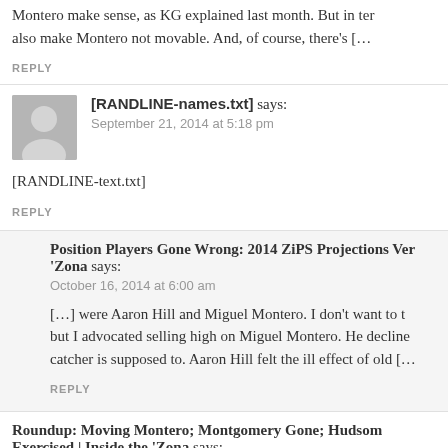Montero make sense, as KG explained last month. But in terms also make Montero not movable. And, of course, there's […
REPLY
[RANDLINE-names.txt] says:
September 21, 2014 at 5:18 pm
[RANDLINE-text.txt]
REPLY
Position Players Gone Wrong: 2014 ZiPS Projections Ver 'Zona says:
October 16, 2014 at 6:00 am
[…] were Aaron Hill and Miguel Montero. I don't want to t but I advocated selling high on Miguel Montero. He decline catcher is supposed to. Aaron Hill felt the ill effect of old […
REPLY
Roundup: Moving Montero; Montgomery Gone; Hudson Exercised | Inside the 'Zona says:
November 3, 2014 at 12:11 pm